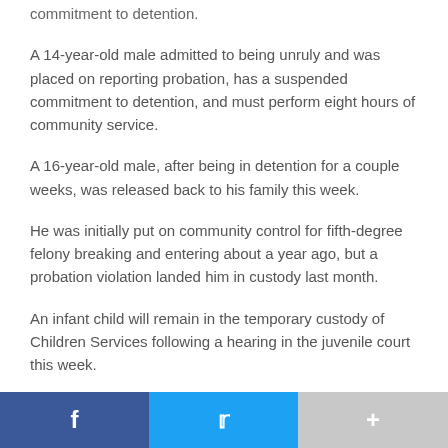commitment to detention.
A 14-year-old male admitted to being unruly and was placed on reporting probation, has a suspended commitment to detention, and must perform eight hours of community service.
A 16-year-old male, after being in detention for a couple weeks, was released back to his family this week.
He was initially put on community control for fifth-degree felony breaking and entering about a year ago, but a probation violation landed him in custody last month.
An infant child will remain in the temporary custody of Children Services following a hearing in the juvenile court this week.
The child was initially removed from his mother because of her drug use. The mother, now in prison, admitted previously
f   t   +